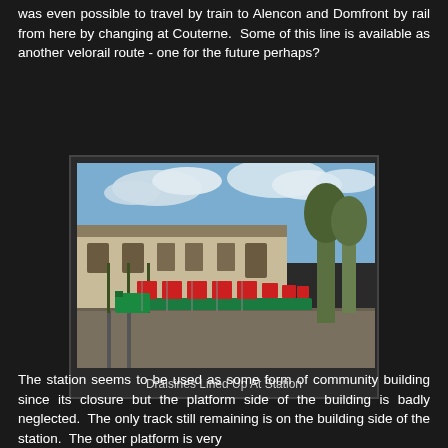was even possible to travel by train to Alencon and Domfront by rail from here by changing at Couterne.  Some of this line is available as another velorail route - one for the future perhaps?
[Figure (photo): Photograph of draisines (rail cycles) lined up along a track beside an old railway station building. The station building is a long, low, cream-coloured structure. Red and green draisines are lined up on the track to the right.]
Draisines Lined Up At Station
The station seems to be used as some form of community building since its closure but the platform side of the building is badly neglected.  The only track still remaining is on the building side of the station.  The other platform is very